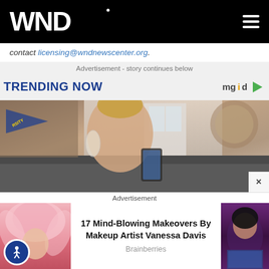WND
contact licensing@wndnewscenter.org.
Advertisement - story continues below
TRENDING NOW
[Figure (photo): Woman applying makeup looking at phone, sitting on dark sofa, with decorative clock and university pennant visible in background]
Advertisement
[Figure (photo): Woman in colorful feathered costume on left side card]
17 Mind-Blowing Makeovers By Makeup Artist Vanessa Davis
Brainberries
[Figure (photo): Woman with dark hair in blue sequined outfit on right side card]